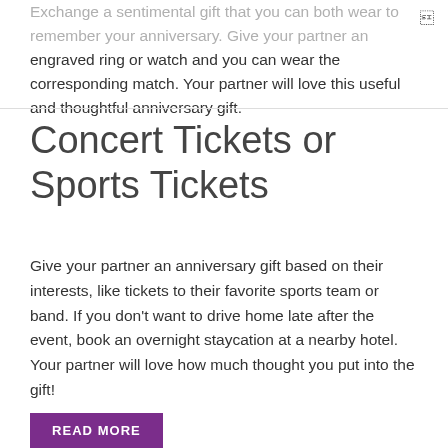Exchange a sentimental gift that you can both wear to remember your anniversary. Give your partner an engraved ring or watch and you can wear the corresponding match. Your partner will love this useful and thoughtful anniversary gift.
Concert Tickets or Sports Tickets
Give your partner an anniversary gift based on their interests, like tickets to their favorite sports team or band. If you don't want to drive home late after the event, book an overnight staycation at a nearby hotel. Your partner will love how much thought you put into the gift!
READ MORE